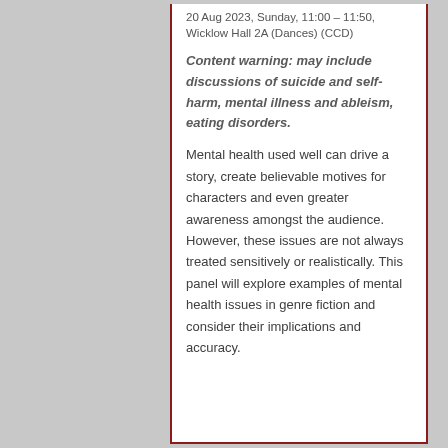20 Aug 2023, Sunday, 11:00 – 11:50, Wicklow Hall 2A (Dances) (CCD)
Content warning: may include discussions of suicide and self-harm, mental illness and ableism, eating disorders.
Mental health used well can drive a story, create believable motives for characters and even greater awareness amongst the audience. However, these issues are not always treated sensitively or realistically. This panel will explore examples of mental health issues in genre fiction and consider their implications and accuracy.